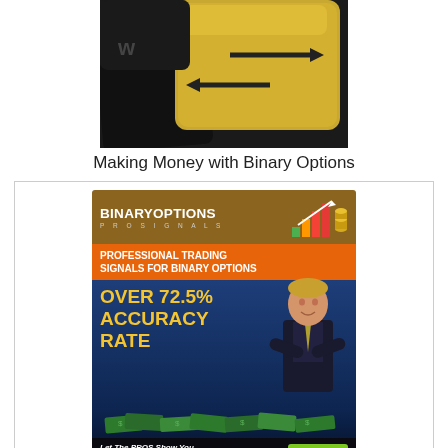[Figure (photo): Close-up photo of golden/yellow keyboard keys with arrows, on a dark background]
Making Money with Binary Options
[Figure (illustration): Advertisement banner for BinaryOptions Pro Signals. Brown header with logo and chart icon, orange band reading 'PROFESSIONAL TRADING SIGNALS FOR BINARY OPTIONS', blue section with large text 'OVER 72.5% ACCURACY RATE' and photo of businessman, bottom dark section with text 'Let The PROS Show You When And What To Trade' and green 'Learn More' button.]